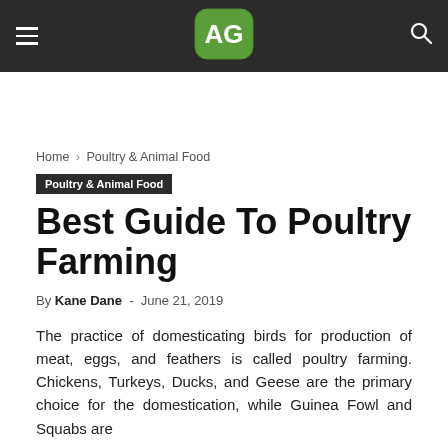AG — Poultry & Animal Food — Best Guide To Poultry Farming
Home › Poultry & Animal Food
Poultry & Animal Food
Best Guide To Poultry Farming
By Kane Dane - June 21, 2019
The practice of domesticating birds for production of meat, eggs, and feathers is called poultry farming. Chickens, Turkeys, Ducks, and Geese are the primary choice for the domestication, while Guinea Fowl and Squabs are